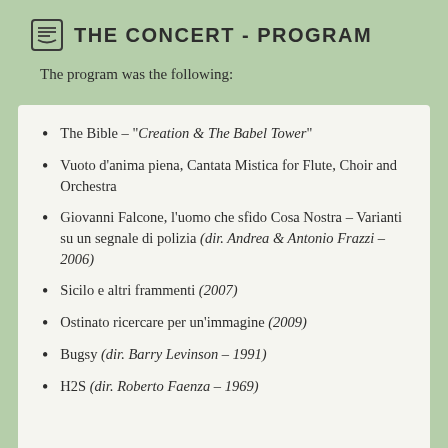THE CONCERT - PROGRAM
The program was the following:
The Bible – "Creation & The Babel Tower"
Vuoto d'anima piena, Cantata Mistica for Flute, Choir and Orchestra
Giovanni Falcone, l'uomo che sfido Cosa Nostra – Varianti su un segnale di polizia (dir. Andrea & Antonio Frazzi – 2006)
Sicilo e altri frammenti (2007)
Ostinato ricercare per un'immagine (2009)
Bugsy (dir. Barry Levinson – 1991)
H2S (dir. Roberto Faenza – 1969)